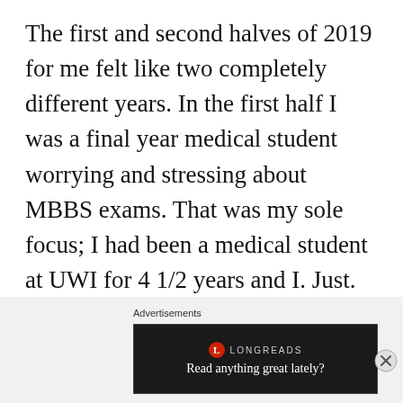The first and second halves of 2019 for me felt like two completely different years. In the first half I was a final year medical student worrying and stressing about MBBS exams. That was my sole focus; I had been a medical student at UWI for 4 1/2 years and I. Just. Wanted. To. Finish. My sleep cycle was a mess, my anxiety was through the roof and in retrospect, I do feel sorry for the persons who had to deal with me. However, like they say, this too shall pass, and pass it did. MBBS examinations came and went, and I was
Advertisements
[Figure (other): Longreads advertisement banner with logo and tagline 'Read anything great lately?' on dark background]